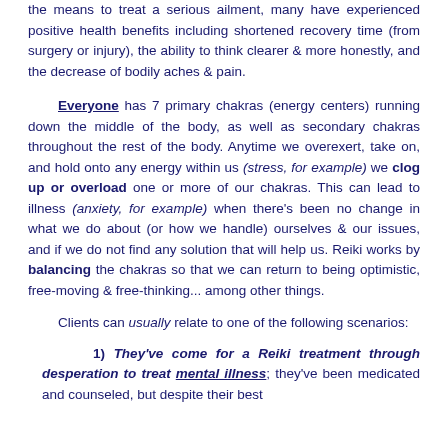the means to treat a serious ailment, many have experienced positive health benefits including shortened recovery time (from surgery or injury), the ability to think clearer & more honestly, and the decrease of bodily aches & pain.
Everyone has 7 primary chakras (energy centers) running down the middle of the body, as well as secondary chakras throughout the rest of the body. Anytime we overexert, take on, and hold onto any energy within us (stress, for example) we clog up or overload one or more of our chakras. This can lead to illness (anxiety, for example) when there's been no change in what we do about (or how we handle) ourselves & our issues, and if we do not find any solution that will help us. Reiki works by balancing the chakras so that we can return to being optimistic, free-moving & free-thinking... among other things.
Clients can usually relate to one of the following scenarios:
1) They've come for a Reiki treatment through desperation to treat mental illness; they've been medicated and counseled, but despite their best